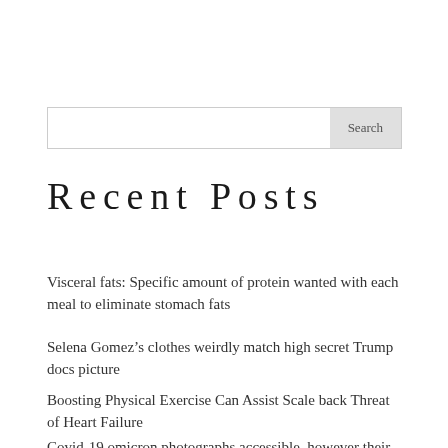Recent Posts
Visceral fats: Specific amount of protein wanted with each meal to eliminate stomach fats
Selena Gomez’s clothes weirdly match high secret Trump docs picture
Boosting Physical Exercise Can Assist Scale back Threat of Heart Failure
Covid-19 omicron photographs accessible, however their effectiveness is unclear